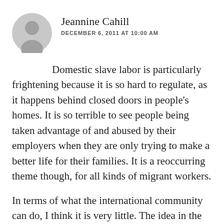[Figure (illustration): Generic gray user avatar icon — silhouette of a person's head and shoulders on a gray circle background]
Jeannine Cahill
DECEMBER 6, 2011 AT 10:00 AM
Domestic slave labor is particularly frightening because it is so hard to regulate, as it happens behind closed doors in people’s homes. It is so terrible to see people being taken advantage of and abused by their employers when they are only trying to make a better life for their families. It is a reoccurring theme though, for all kinds of migrant workers.
In terms of what the international community can do, I think it is very little. The idea in the